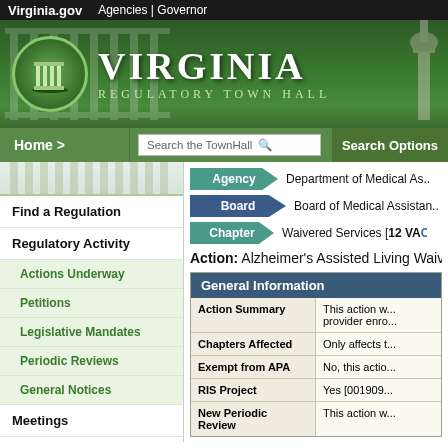Virginia.gov   Agencies | Governor
[Figure (logo): Virginia Regulatory Town Hall banner with green background, column logo, and white text reading VIRGINIA REGULATORY TOWN HALL]
Home >   Search the TownHall   Search Options
Find a Regulation
Regulatory Activity
Actions Underway
Petitions
Legislative Mandates
Periodic Reviews
General Notices
Meetings
Guidance Documents
Agency   Department of Medical As...
Board   Board of Medical Assistan...
Chapter   Waivered Services [12 VA...
Action:  Alzheimer's Assisted Living Waive...
| General Information |  |
| --- | --- |
| Action Summary | This action w... provider enro... |
| Chapters Affected | Only affects t... |
| Exempt from APA | No, this actio... |
| RIS Project | Yes  [001909... |
| New Periodic Review | This action w... |